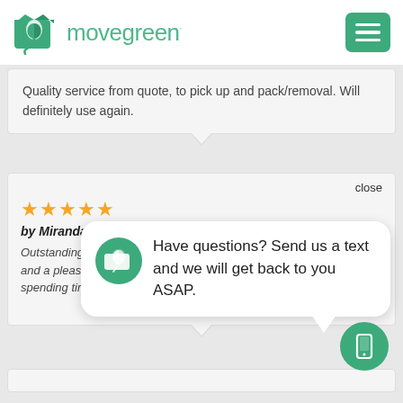[Figure (logo): Movegreen logo with green box icon and green wordmark 'movegreen·']
Quality service from quote, to pick up and pack/removal. Will definitely use again.
close
★★★★★
by Miranda M
Outstanding serv... and a pleasure to... spending time with Kenny and Bernie.
[Figure (screenshot): Chat popup with Movegreen leaf icon and text: Have questions? Send us a text and we will get back to you ASAP.]
[Figure (illustration): Green circular FAB button with white mobile phone icon]